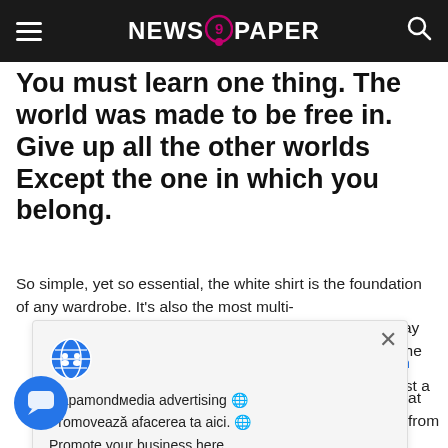NEWS 9 PAPER
You must learn one thing. The world was made to be free in. Give up all the other worlds Except the one in which you belong.
So simple, yet so essential, the white shirt is the foundation of any wardrobe. It’s also the most multi- [work to play with just the] [buttons. It matter what] [hat fabric from silk to] [ts your personal style]
mapamondmedia advertising • Promoveață afacerea ta aici. • Promote your business here.
Klein known for launching the careers of such models as Brooke Shields and Kate Moss to cast a model who deviates from the size standard and make a